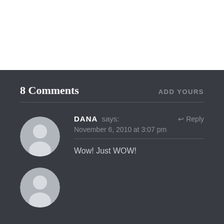8 Comments
ADD YOURS
[Figure (illustration): Default user avatar — circular grey silhouette of a person on a lighter grey background for commenter Dana]
DANA says:
↩ Reply
November 6, 2010 at 3:07 pm
Wow! Just WOW!
[Figure (illustration): Partial default user avatar circle visible at bottom of page for next commenter]